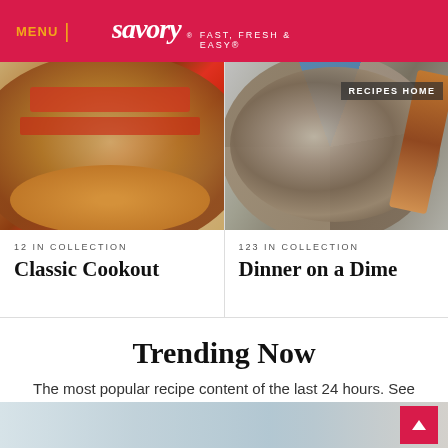MENU | savory FAST, FRESH & EASY®
[Figure (photo): Overhead photo of a burger with tomato slices and sesame seed bun on a wooden surface]
12 IN COLLECTION
Classic Cookout
[Figure (photo): Top-down view of a mushroom and greens dish in a blue cast iron pot with wooden spoon, with RECIPES HOME overlay label]
123 IN COLLECTION
Dinner on a Dime
Trending Now
The most popular recipe content of the last 24 hours. See what's hot!
[Figure (photo): Partial bottom strip showing a food photo]